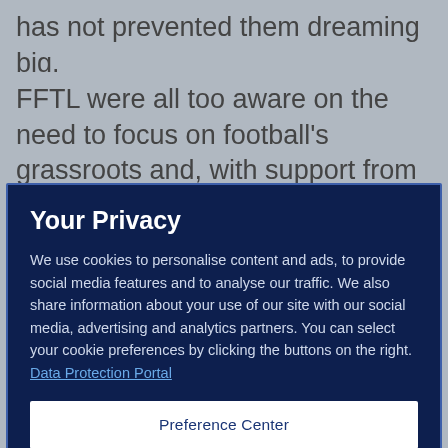has not prevented them dreaming big.
FFTL were all too aware on the need to focus on football's grassroots and, with support from FIFA and
Your Privacy
We use cookies to personalise content and ads, to provide social media features and to analyse our traffic. We also share information about your use of our site with our social media, advertising and analytics partners. You can select your cookie preferences by clicking the buttons on the right.  Data Protection Portal
Preference Center
Reject All
I'm OK with that